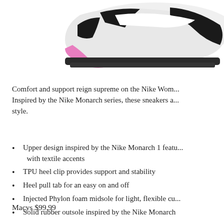[Figure (photo): Close-up of a Nike women's sneaker with white, black, and pink colorway, shown from the side/heel angle]
Comfort and support reign supreme on the Nike Wom... Inspired by the Nike Monarch series, these sneakers a... style.
Upper design inspired by the Nike Monarch 1 featu... with textile accents
TPU heel clip provides support and stability
Heel pull tab for an easy on and off
Injected Phylon foam midsole for light, flexible cu...
Solid rubber outsole inspired by the Nike Monarch
Macys $99.99